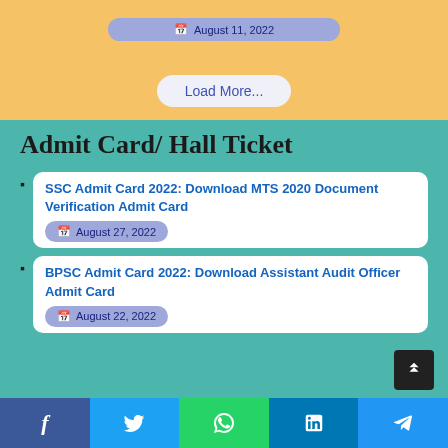August 11, 2022
Load More...
Admit Card/ Hall Ticket
SSC Admit Card 2022: Download MTS 2020 Document Verification Admit Card — August 27, 2022
BPSC Admit Card 2022: Download Assistant Audit Officer Admit Card — August 22, 2022